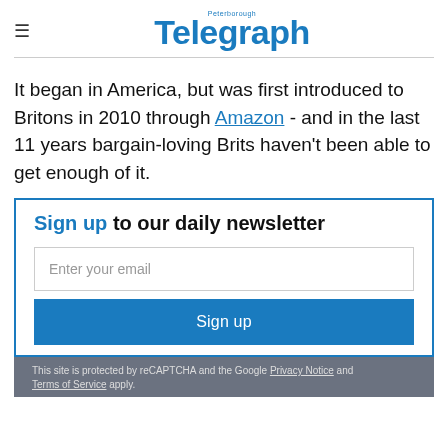Peterborough Telegraph
It began in America, but was first introduced to Britons in 2010 through Amazon - and in the last 11 years bargain-loving Brits haven't been able to get enough of it.
Sign up to our daily newsletter
Enter your email
Sign up
This site is protected by reCAPTCHA and the Google Privacy Notice and Terms of Service apply.